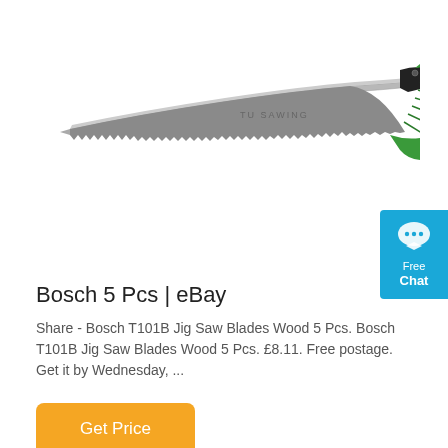[Figure (photo): A hand saw with a long curved serrated steel blade and a green ergonomic handle with black hardware, branded 'TU SAWING'. The blade curves upward toward the green handle.]
[Figure (infographic): Blue chat widget button in the top right corner showing a speech bubble icon with text 'Free Chat']
Bosch 5 Pcs | eBay
Share - Bosch T101B Jig Saw Blades Wood 5 Pcs. Bosch T101B Jig Saw Blades Wood 5 Pcs. £8.11. Free postage. Get it by Wednesday, ...
Get Price